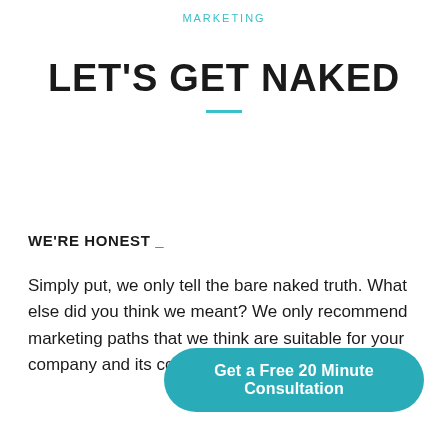MARKETING
LET'S GET NAKED
WE'RE HONEST _
Simply put, we only tell the bare naked truth. What else did you think we meant? We only recommend marketing paths that we think are suitable for your company and its competitive position.
Get a Free 20 Minute Consultation